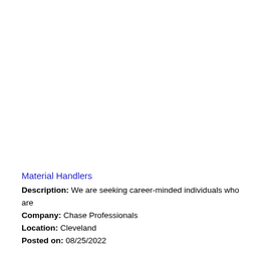Material Handlers
Description: We are seeking career-minded individuals who are
Company: Chase Professionals
Location: Cleveland
Posted on: 08/25/2022